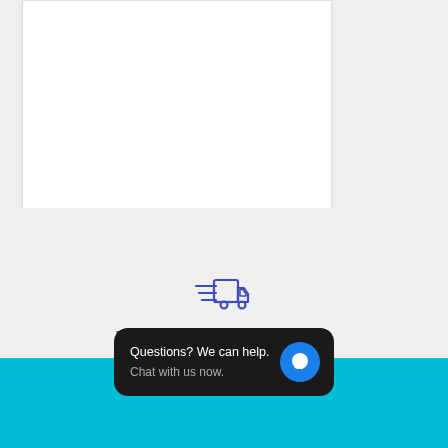[Figure (illustration): White product card/panel area with light border, partially visible at top left of page]
[Figure (illustration): Blue outline delivery truck icon with speed lines, indicating fast/free shipping]
FREE Shipping Over $99
Excludes Oversized or Heavy Items
[Figure (screenshot): Dark rounded chat widget popup with text 'Questions? We can help.' and 'Chat with us now.' and a blue circle chat icon]
[Figure (illustration): Cyan/teal colored footer bar at bottom of page]